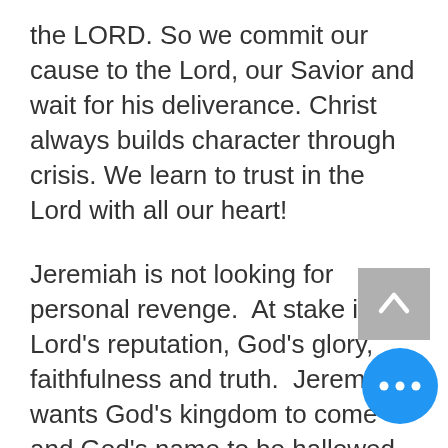the LORD. So we commit our cause to the Lord, our Savior and wait for his deliverance. Christ always builds character through crisis. We learn to trust in the Lord with all our heart!
Jeremiah is not looking for personal revenge.  At stake is the Lord's reputation, God's glory, faithfulness and truth.  Jeremiah wants God's kingdom to come and God's name to be hallowed.  Now he waits patiently. He committed his cause to the Lord. He knows the Lord will take care of it.
The Christian life is all about character. The character of a Christian is shaped and molded by crisis. It is at the difficult times in our